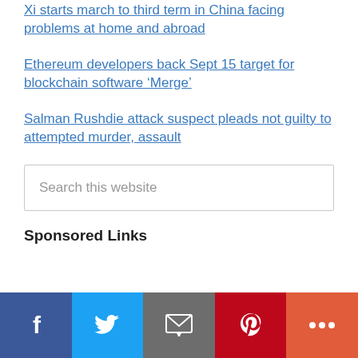Xi starts march to third term in China facing problems at home and abroad
Ethereum developers back Sept 15 target for blockchain software ‘Merge’
Salman Rushdie attack suspect pleads not guilty to attempted murder, assault
Search this website
Sponsored Links
[Figure (infographic): Social sharing bar with Facebook, Twitter, Email, Pinterest, and More buttons]